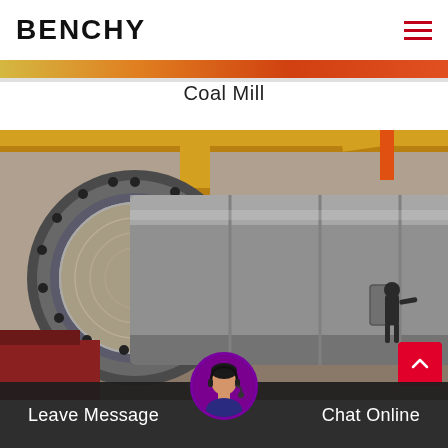BENCHY
Coal Mill
[Figure (photo): Industrial coal mill / ball mill machinery — a large rotating cylindrical drum with a prominent circular end ring/bearing assembly, yellow structural pipes overhead, and a person standing near the far end of the cylindrical body inside an industrial facility.]
Leave Message
Chat Online